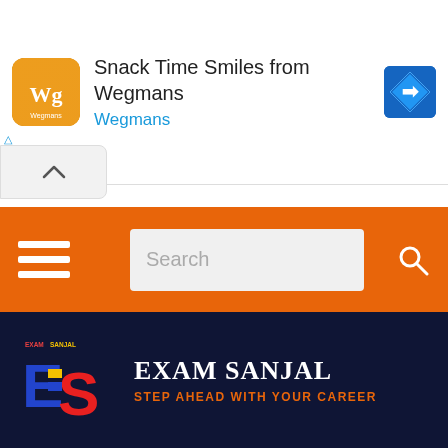[Figure (screenshot): Wegmans advertisement banner with orange logo, text 'Snack Time Smiles from Wegmans' and Wegmans brand link, with a blue navigation arrow icon on the right]
[Figure (screenshot): Orange navigation bar with hamburger menu icon on left, search input field in center, and search icon on right]
[Figure (logo): Exam Sanjal logo: colorful ES letters on dark navy background with text EXAM SANJAL and tagline STEP AHEAD WITH YOUR CAREER in orange]